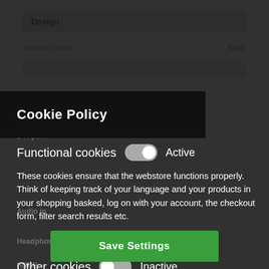Design
Product colour    Black
Cookie Policy
Functional cookies    Active
These cookies ensure that the webstore functions properly. Think of keeping track of your language and your products in your shopping basked, log on with your account, the checkout form, filter search results etc.
Other cookies    Inactive
We use analytical and tracking cookies to see how we can improve the webstore and how we can adapt content and potential advertisements to your preference.
Save Settings